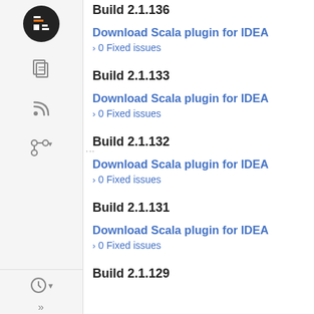Build 2.1.136
Download Scala plugin for IDEA
> 0 Fixed issues
Build 2.1.133
Download Scala plugin for IDEA
> 0 Fixed issues
Build 2.1.132
Download Scala plugin for IDEA
> 0 Fixed issues
Build 2.1.131
Download Scala plugin for IDEA
> 0 Fixed issues
Build 2.1.129